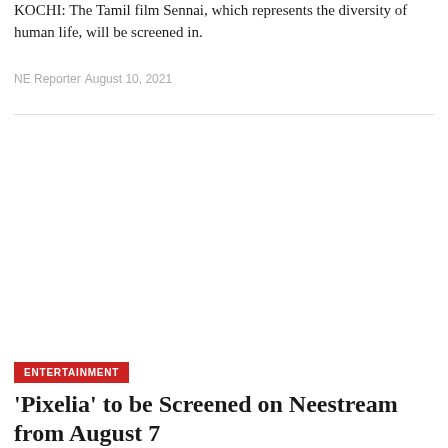KOCHI: The Tamil film Sennai, which represents the diversity of human life, will be screened in.
NE Reporter  August 10, 2021
[Figure (photo): Blank/white image area representing a news article photograph]
ENTERTAINMENT
'Pixelia' to be Screened on Neestream from August 7